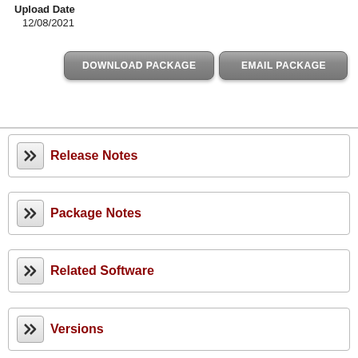Upload Date
12/08/2021
[Figure (other): Two buttons: DOWNLOAD PACKAGE and EMAIL PACKAGE]
Release Notes
Package Notes
Related Software
Versions